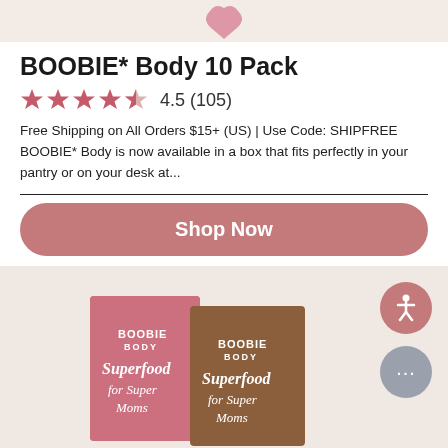[Figure (photo): Top strip showing partial product image on light pink/beige background]
BOOBIE* Body 10 Pack
4.5 (105) — star rating row
Free Shipping on All Orders $15+ (US) | Use Code: SHIPFREE BOOBIE* Body is now available in a box that fits perfectly in your pantry or on your desk at...
Shop Now
[Figure (photo): Two BOOBIE BODY Superfood for Super Moms product boxes (pink and brown) on a light pink background, with accessibility icon button and chat button on the right side]